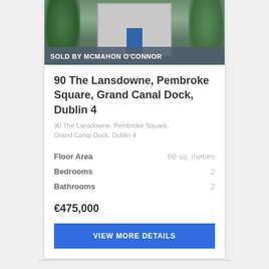[Figure (photo): Exterior photo of a residential property with trees and blue door, partially visible at top of card]
SOLD BY MCMAHON O'CONNOR
90 The Lansdowne, Pembroke Square, Grand Canal Dock, Dublin 4
90 The Lansdowne, Pembroke Square, Grand Canal Dock, Dublin 4
Floor Area  60 sq. metres
Bedrooms  2
Bathrooms  2
€475,000
VIEW MORE DETAILS